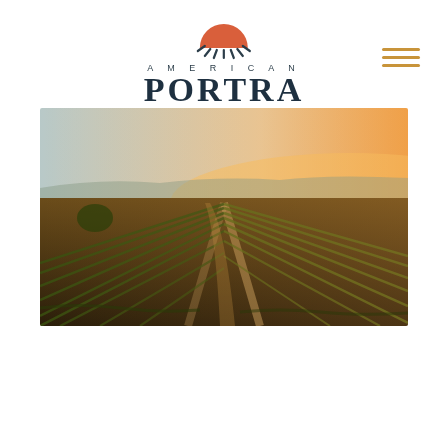[Figure (logo): American Portra logo with stylized sun/sunrise icon above the brand name. 'AMERICAN' in small spaced caps, 'PORTRA' in large serif bold text, 'EST 2011' below in small spaced caps. Color scheme: dark teal/navy text.]
[Figure (other): Hamburger menu icon with three horizontal lines in golden/amber color, positioned top right.]
[Figure (photo): Aerial drone photograph of a vineyard at golden hour/sunset. Rows of grapevines extend into the distance with warm orange sunlight on the horizon. Rolling hills and a town visible in the background.]